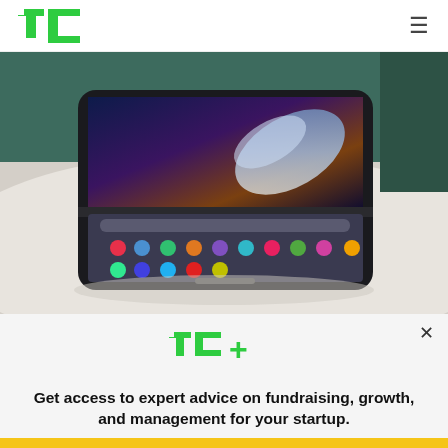TechCrunch logo and hamburger menu
[Figure (photo): Samsung Galaxy Z Fold4 foldable smartphone open on a white marble table, showing home screen with app icons on the bottom half and a decorative wallpaper on the top inner screen.]
TC+
Get access to expert advice on fundraising, growth, and management for your startup.
EXPLORE NOW